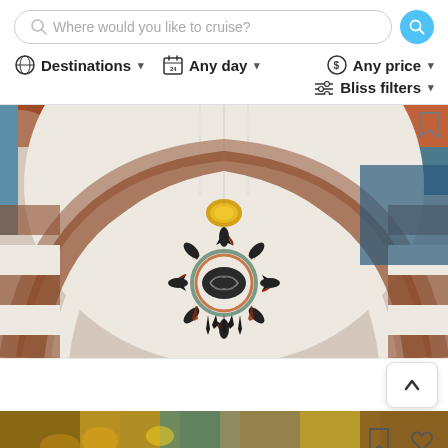[Figure (screenshot): Cruise search website interface showing a search bar with 'Where would you like to cruise?' placeholder text, filter options (Destinations, Any day, Any price, Bliss filters), a main photo of the interior of an ornate mosque with Islamic calligraphy and geometric patterns on the ceiling, and a partially visible second photo at the bottom showing colorful architectural details.]